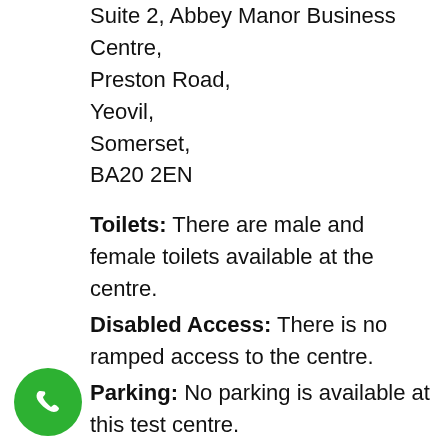Suite 2, Abbey Manor Business Centre,
Preston Road,
Yeovil,
Somerset,
BA20 2EN
Toilets: There are male and female toilets available at the centre.
Disabled Access: There is no ramped access to the centre.
Parking: No parking is available at this test centre.
Additional Notes:
[Figure (illustration): Green circular phone icon button]